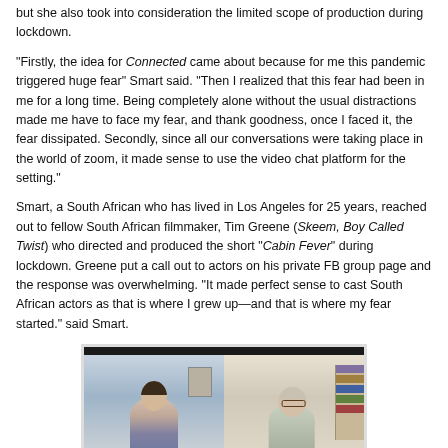but she also took into consideration the limited scope of production during lockdown.
"Firstly, the idea for Connected came about because for me this pandemic triggered huge fear" Smart said. "Then I realized that this fear had been in me for a long time. Being completely alone without the usual distractions made me have to face my fear, and thank goodness, once I faced it, the fear dissipated. Secondly, since all our conversations were taking place in the world of zoom, it made sense to use the video chat platform for the setting."
Smart, a South African who has lived in Los Angeles for 25 years, reached out to fellow South African filmmaker, Tim Greene (Skeem, Boy Called Twist) who directed and produced the short "Cabin Fever" during lockdown. Greene put a call out to actors on his private FB group page and the response was overwhelming. "It made perfect sense to cast South African actors as that is where I grew up—and that is where my fear started." said Smart.
[Figure (photo): A video call screenshot showing two women on a zoom-style video chat. The left panel shows a woman with long dark hair in a light room with artwork on the wall. The right panel shows an older woman with short light hair and glasses in a room with a bookshelf.]